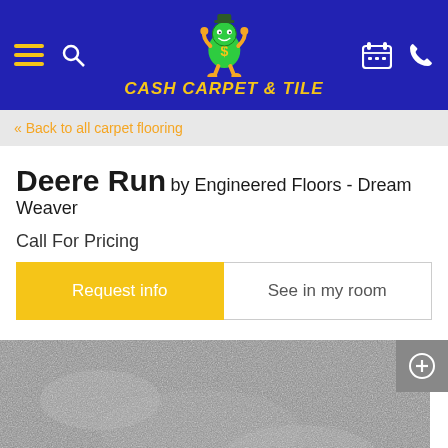Cash Carpet & Tile - navigation header
« Back to all carpet flooring
Deere Run by Engineered Floors - Dream Weaver
Call For Pricing
Request info
See in my room
[Figure (photo): Close-up photo of a gray textured carpet named Deere Run]